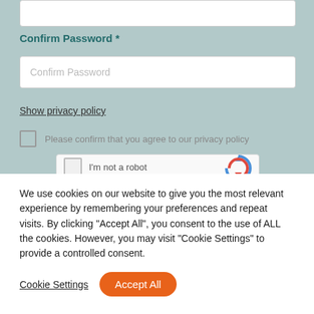Confirm Password *
Confirm Password (input placeholder)
Show privacy policy
Please confirm that you agree to our privacy policy
[Figure (screenshot): reCAPTCHA widget with checkbox and 'I'm not a robot' text and reCAPTCHA logo]
We use cookies on our website to give you the most relevant experience by remembering your preferences and repeat visits. By clicking “Accept All”, you consent to the use of ALL the cookies. However, you may visit "Cookie Settings" to provide a controlled consent.
Cookie Settings
Accept All